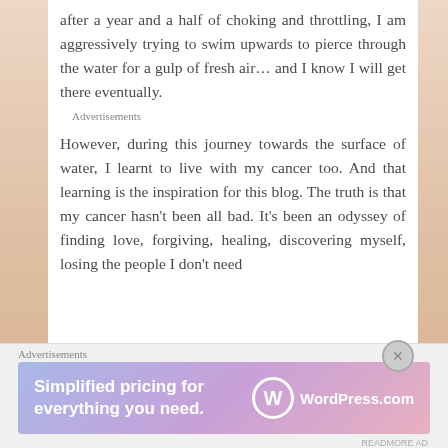after a year and a half of choking and throttling, I am aggressively trying to swim upwards to pierce through the water for a gulp of fresh air… and I know I will get there eventually.
Advertisements
However, during this journey towards the surface of water, I learnt to live with my cancer too. And that learning is the inspiration for this blog. The truth is that my cancer hasn't been all bad. It's been an odyssey of finding love, forgiving, healing, discovering myself, losing the people I don't need
Advertisements
[Figure (screenshot): WordPress.com advertisement banner with gradient blue-purple-pink background. Text reads 'Simplified pricing for everything you need.' with WordPress.com logo on the right.]